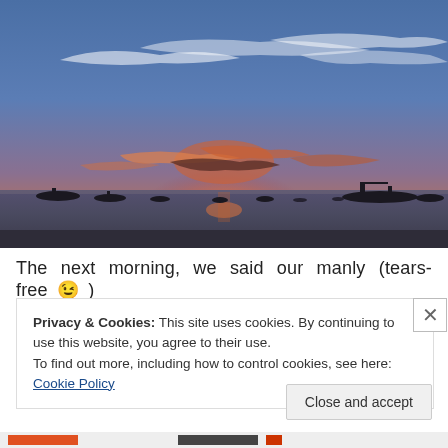[Figure (photo): Sunset over water with silhouettes of boats on the horizon. Dramatic sky with wispy clouds lit orange and pink near the center, blue sky above.]
The next morning, we said our manly (tears-free 😉 )
Privacy & Cookies: This site uses cookies. By continuing to use this website, you agree to their use.
To find out more, including how to control cookies, see here: Cookie Policy
Close and accept